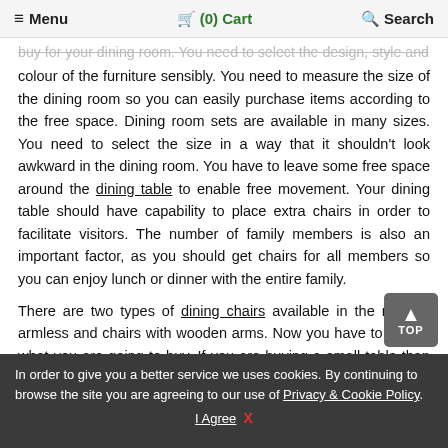≡ Menu   🛒 (0) Cart   🔍 Search
buy for your dining room. You need to select the design, style and colour of the furniture sensibly. You need to measure the size of the dining room so you can easily purchase items according to the free space. Dining room sets are available in many sizes. You need to select the size in a way that it shouldn't look awkward in the dining room. You have to leave some free space around the dining table to enable free movement. Your dining table should have capability to place extra chairs in order to facilitate visitors. The number of family members is also an important factor, as you should get chairs for all members so you can enjoy lunch or dinner with the entire family.
There are two types of dining chairs available in the market, armless and chairs with wooden arms. Now you have to decide what you are going to buy. If you are buying a small table than you must opt for [armless] chairs but if you are purchasing a large size table then you can select one according to your choice. You must keep in mind the entire theme
In order to give you a better service we uses cookies. By continuing to browse the site you are agreeing to our use of Privacy & Cookie Policy.
I Agree  X